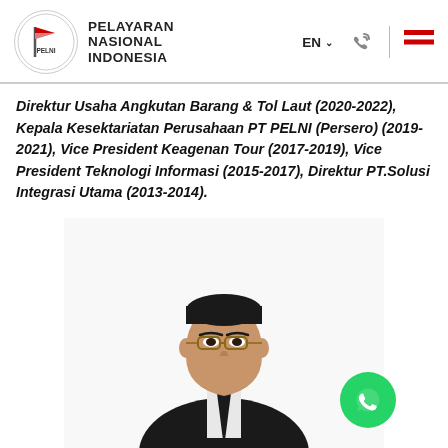[Figure (logo): PELNI (Pelayaran Nasional Indonesia) logo with circular emblem containing a red flag on white background, accompanied by bold text 'PELAYARAN NASIONAL INDONESIA']
Direktur Usaha Angkutan Barang & Tol Laut (2020-2022), Kepala Kesektariatan Perusahaan PT PELNI (Persero) (2019-2021), Vice President Keagenan Tour (2017-2019), Vice President Teknologi Informasi (2015-2017), Direktur PT.Solusi Integrasi Utama (2013-2014).
[Figure (photo): Professional headshot of an Indonesian man wearing glasses and a dark suit with tie, photo has a white background. A green WhatsApp icon button is overlaid in the bottom right area of the photo.]